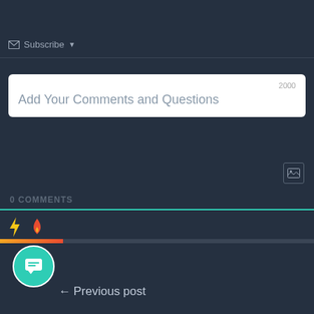Subscribe ▼
2000
Add Your Comments and Questions
0 COMMENTS
[Figure (infographic): Lightning bolt icon and flame icon for sorting/filtering comments, followed by a gradient progress bar (orange to red)]
[Figure (illustration): Teal circular chat bubble button icon with speech bubble symbol]
← Previous post